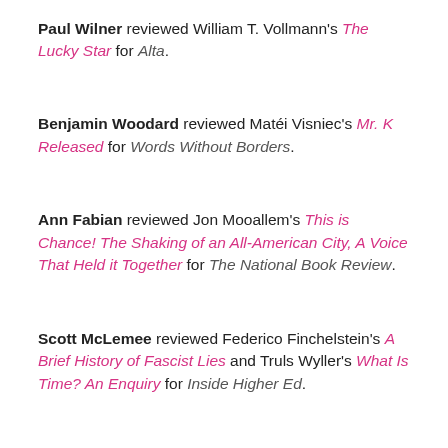Paul Wilner reviewed William T. Vollmann's The Lucky Star for Alta.
Benjamin Woodard reviewed Matéi Visniec's Mr. K Released for Words Without Borders.
Ann Fabian reviewed Jon Mooallem's This is Chance! The Shaking of an All-American City, A Voice That Held it Together for The National Book Review.
Scott McLemee reviewed Federico Finchelstein's A Brief History of Fascist Lies and Truls Wyller's What Is Time? An Enquiry for Inside Higher Ed.